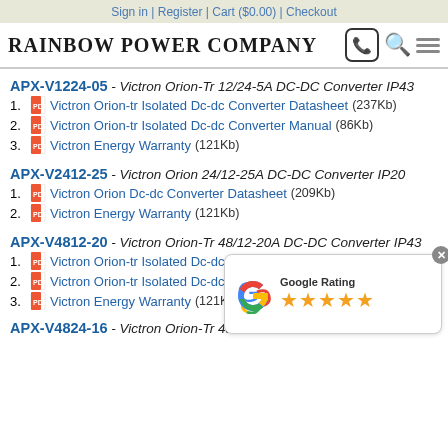Sign in | Register | Cart ($0.00) | Checkout
[Figure (logo): Rainbow Power Company logo with phone, search, and menu icons]
APX-V1224-05 - Victron Orion-Tr 12/24-5A DC-DC Converter IP43
1. Victron Orion-tr Isolated Dc-dc Converter Datasheet (237Kb)
2. Victron Orion-tr Isolated Dc-dc Converter Manual (86Kb)
3. Victron Energy Warranty (121Kb)
APX-V2412-25 - Victron Orion 24/12-25A DC-DC Converter IP20
1. Victron Orion Dc-dc Converter Datasheet (209Kb)
2. Victron Energy Warranty (121Kb)
APX-V4812-20 - Victron Orion-Tr 48/12-20A DC-DC Converter IP43
1. Victron Orion-tr Isolated Dc-dc Converter Datasheet (237Kb)
2. Victron Orion-tr Isolated Dc-dc Converter Manual (86Kb)
3. Victron Energy Warranty (121Kb)
[Figure (other): Google Rating badge with 5 stars]
APX-V4824-16 - Victron Orion-Tr 48/24-16A DC-DC Converter IP43